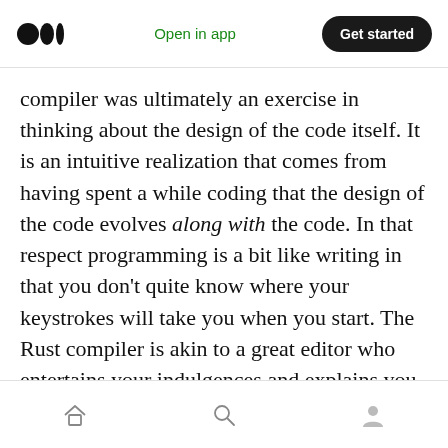Open in app | Get started
compiler was ultimately an exercise in thinking about the design of the code itself. It is an intuitive realization that comes from having spent a while coding that the design of the code evolves along with the code. In that respect programming is a bit like writing in that you don't quite know where your keystrokes will take you when you start. The Rust compiler is akin to a great editor who entertains your indulgences and explains you why they're bad.

There is real potential for science in this
Home | Search | Profile